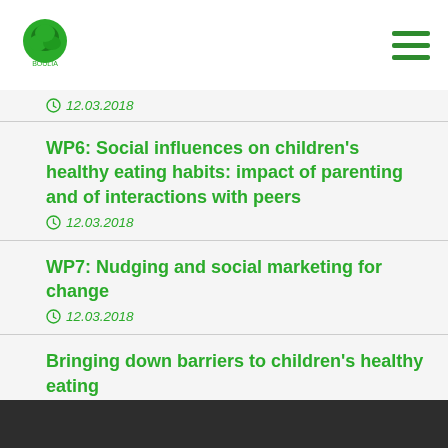BOULIA (logo)
12.03.2018
WP6: Social influences on children's healthy eating habits: impact of parenting and of interactions with peers
12.03.2018
WP7: Nudging and social marketing for change
12.03.2018
Bringing down barriers to children's healthy eating
04.12.2017